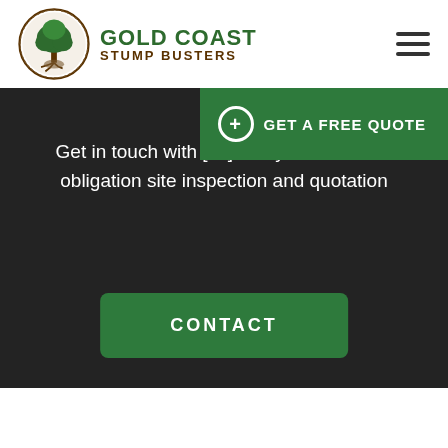[Figure (logo): Gold Coast Stump Busters logo with circular tree illustration and green/brown brand text]
[Figure (screenshot): Website hero section with dark background showing text 'Get in touch with [us] today for a free no obligation site inspection and quotation', a green GET A FREE QUOTE button top right, and a green CONTACT button in center]
Get in touch with [us] today for a free no obligation site inspection and quotation
CONTACT